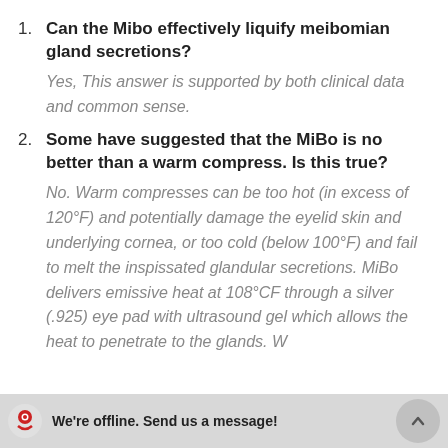Can the Mibo effectively liquify meibomian gland secretions? Yes, This answer is supported by both clinical data and common sense.
Some have suggested that the MiBo is no better than a warm compress. Is this true? No. Warm compresses can be too hot (in excess of 120°F) and potentially damage the eyelid skin and underlying cornea, or too cold (below 100°F) and fail to melt the inspissated glandular secretions. MiBo delivers emissive heat at 108°CF through a silver (.925) eye pad with ultrasound gel which allows the heat to penetrate to the glands. We...
We're offline. Send us a message!